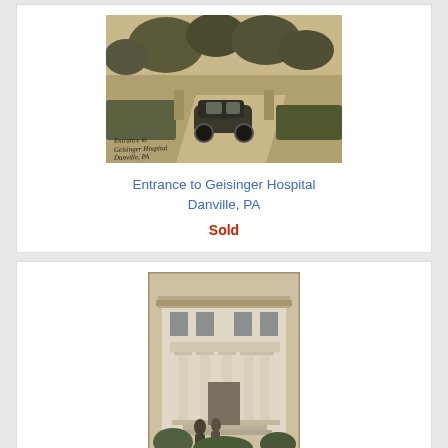[Figure (photo): Sepia-tone historical photograph of the entrance to Geisinger Hospital in Danville, PA. Shows a vintage automobile on a driveway surrounded by trees and hedges. Handwritten text in the lower left reads 'Entrance to Geisinger Hospital, Danville, PA'.]
Entrance to Geisinger Hospital
Danville, PA
Sold
[Figure (photo): Sepia-tone historical photograph of a large neoclassical building with prominent columns at the entrance, likely Geisinger Hospital. Two people visible near the entrance steps. Shrubs and trees in the foreground.]